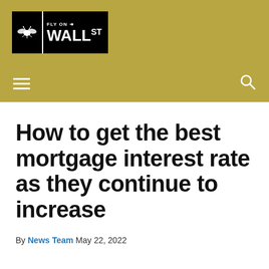[Figure (logo): Fly on Wall Street logo — black box with fly icon and WALL ST text, on gold background header]
Navigation bar with hamburger menu and search icon
How to get the best mortgage interest rate as they continue to increase
By News Team May 22, 2022